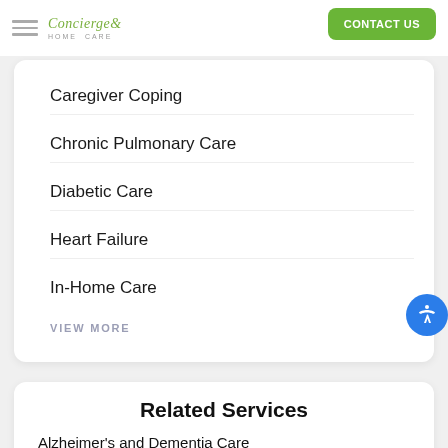Concierge Home Care | CONTACT US
Caregiver Coping
Chronic Pulmonary Care
Diabetic Care
Heart Failure
In-Home Care
VIEW MORE
Related Services
Alzheimer's and Dementia Care
Behavioral Health Care